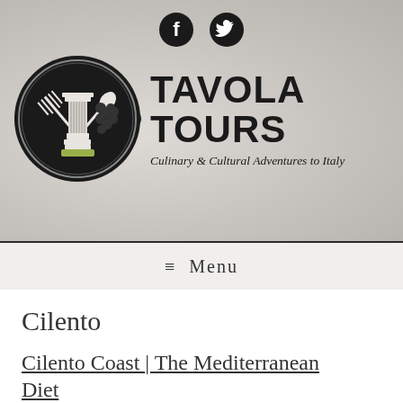[Figure (logo): Tavola Tours logo with circular emblem featuring a classical column, crossed fork and spoon, grapes, on dark background]
TAVOLA TOURS
Culinary & Cultural Adventures to Italy
≡ Menu
Cilento
Cilento Coast | The Mediterranean Diet